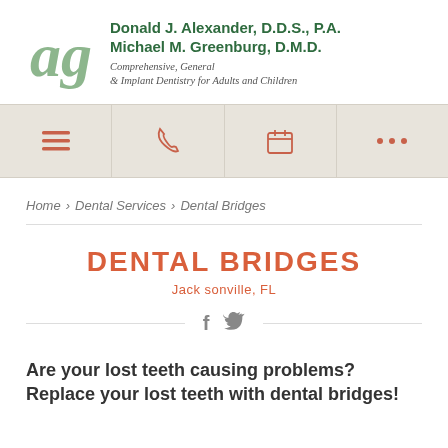[Figure (logo): Dental practice logo with stylized 'ag' monogram in sage green, next to practice names and tagline]
[Figure (infographic): Navigation bar with four icon cells: hamburger menu, phone, calendar, and ellipsis dots, on beige background]
Home > Dental Services > Dental Bridges
DENTAL BRIDGES
Jack sonville, FL
[Figure (infographic): Social media icons: Facebook (f) and Twitter bird icon]
Are your lost teeth causing problems? Replace your lost teeth with dental bridges!